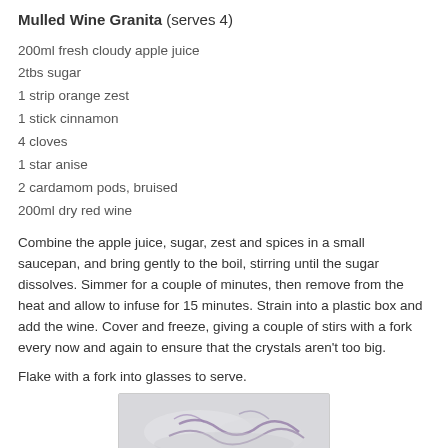Mulled Wine Granita (serves 4)
200ml fresh cloudy apple juice
2tbs sugar
1 strip orange zest
1 stick cinnamon
4 cloves
1 star anise
2 cardamom pods, bruised
200ml dry red wine
Combine the apple juice, sugar, zest and spices in a small saucepan, and bring gently to the boil, stirring until the sugar dissolves. Simmer for a couple of minutes, then remove from the heat and allow to infuse for 15 minutes. Strain into a plastic box and add the wine. Cover and freeze, giving a couple of stirs with a fork every now and again to ensure that the crystals aren't too big.
Flake with a fork into glasses to serve.
[Figure (photo): Photo of mulled wine granita served in glasses, showing icy purple-tinted crystals]